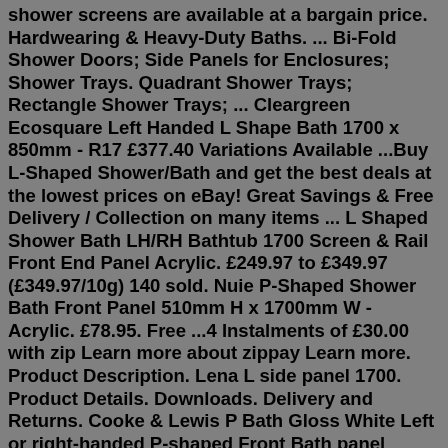shower screens are available at a bargain price. Hardwearing & Heavy-Duty Baths. ... Bi-Fold Shower Doors; Side Panels for Enclosures; Shower Trays. Quadrant Shower Trays; Rectangle Shower Trays; ... Cleargreen Ecosquare Left Handed L Shape Bath 1700 x 850mm - R17 £377.40 Variations Available ...Buy L-Shaped Shower/Bath and get the best deals at the lowest prices on eBay! Great Savings & Free Delivery / Collection on many items ... L Shaped Shower Bath LH/RH Bathtub 1700 Screen & Rail Front End Panel Acrylic. £249.97 to £349.97 (£349.97/10g) 140 sold. Nuie P-Shaped Shower Bath Front Panel 510mm H x 1700mm W - Acrylic. £78.95. Free ...4 Instalments of £30.00 with zip Learn more about zippay Learn more. Product Description. Lena L side panel 1700. Product Details. Downloads. Delivery and Returns. Cooke & Lewis P Bath Gloss White Left or right-handed P-shaped Front Bath panel (W)1700mm. 20% off Toilets, Basins, Baths, Shower Enclosures & Trays. Discount applied at checkout. £75. Add to basket. Cooke & Lewis Solarna